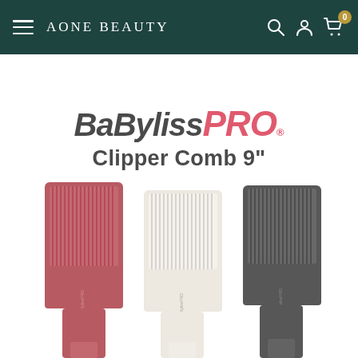Aone Beauty — navigation bar with hamburger menu, search, account, and cart icons
[Figure (logo): BaBylissPRO logo with 'BaByliss' in dark italic bold and 'PRO' in red/pink italic bold]
Clipper Comb 9"
[Figure (photo): Three BaBylissPRO Clipper Combs 9 inches in three colors: rose/pink, white, and dark gray/charcoal, displayed side by side on white background]